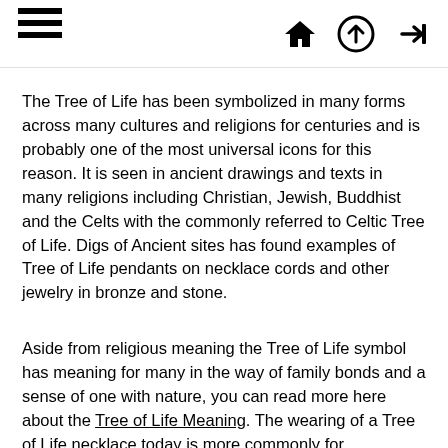ages [hamburger menu, home icon, up icon, next icon]
The Tree of Life has been symbolized in many forms across many cultures and religions for centuries and is probably one of the most universal icons for this reason. It is seen in ancient drawings and texts in many religions including Christian, Jewish, Buddhist and the Celts with the commonly referred to Celtic Tree of Life. Digs of Ancient sites has found examples of Tree of Life pendants on necklace cords and other jewelry in bronze and stone.
Aside from religious meaning the Tree of Life symbol has meaning for many in the way of family bonds and a sense of one with nature, you can read more here about the Tree of Life Meaning. The wearing of a Tree of Life necklace today is more commonly for expressing belief in the strength of family, depicted as the roots being family roots or heritage, the trunk being the strength and support